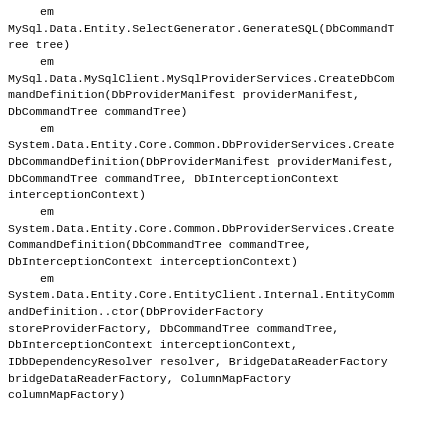em
MySql.Data.Entity.SelectGenerator.GenerateSQL(DbCommandTree tree)
    em
MySql.Data.MySqlClient.MySqlProviderServices.CreateDbCommandDefinition(DbProviderManifest providerManifest, DbCommandTree commandTree)
    em
System.Data.Entity.Core.Common.DbProviderServices.CreateDbCommandDefinition(DbProviderManifest providerManifest, DbCommandTree commandTree, DbInterceptionContext interceptionContext)
    em
System.Data.Entity.Core.Common.DbProviderServices.CreateCommandDefinition(DbCommandTree commandTree, DbInterceptionContext interceptionContext)
    em
System.Data.Entity.Core.EntityClient.Internal.EntityCommandDefinition..ctor(DbProviderFactory storeProviderFactory, DbCommandTree commandTree, DbInterceptionContext interceptionContext, IDbDependencyResolver resolver, BridgeDataReaderFactory bridgeDataReaderFactory, ColumnMapFactory columnMapFactory)